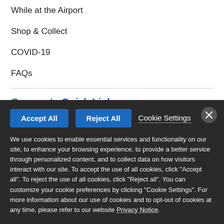While at the Airport
Shop & Collect
COVID-19
FAQs
Corporate Quick Links
Media Centre
Advertising at the airport
We use cookies to enable essential services and functionality on our site, to enhance your browsing experience, to provide a better service through personalized content, and to collect data on how visitors interact with our site. To accept the use of all cookies, click "Accept all". To reject the use of all cookies, click "Reject all". You can customize your cookie preferences by clicking "Cookie Settings". For more information about our use of cookies and to opt-out of cookies at any time, please refer to our website Privacy Notice.